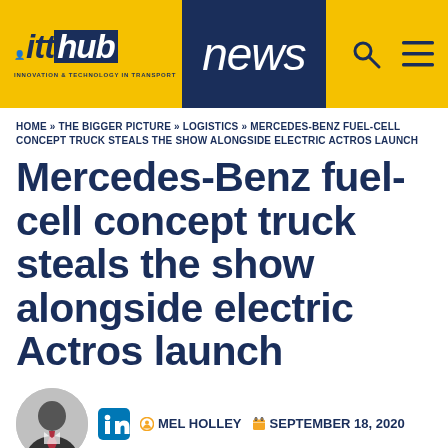itthub news
HOME » THE BIGGER PICTURE » LOGISTICS » MERCEDES-BENZ FUEL-CELL CONCEPT TRUCK STEALS THE SHOW ALONGSIDE ELECTRIC ACTROS LAUNCH
Mercedes-Benz fuel-cell concept truck steals the show alongside electric Actros launch
MEL HOLLEY  SEPTEMBER 18, 2020